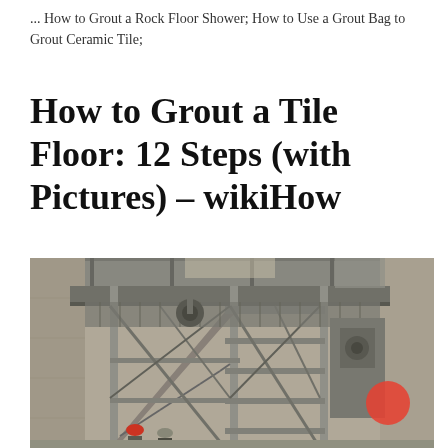... How to Grout a Rock Floor Shower; How to Use a Grout Bag to Grout Ceramic Tile;
How to Grout a Tile Floor: 12 Steps (with Pictures) – wikiHow
[Figure (photo): Industrial or construction interior showing metal scaffolding stairs and workers in hard hats inside a large warehouse or factory building. A red circle/dot is visible in the lower right area of the image.]